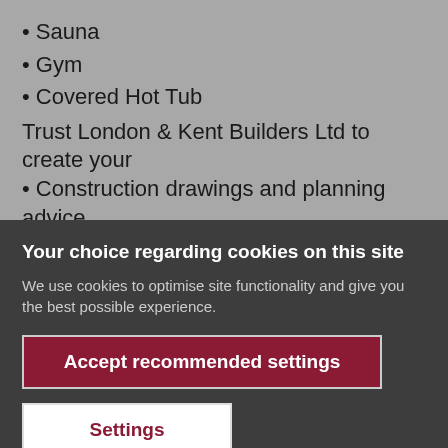• Sauna
• Gym
• Covered Hot Tub
Trust London & Kent Builders Ltd to create your
• Construction drawings and planning advice
Your choice regarding cookies on this site
We use cookies to optimise site functionality and give you the best possible experience.
Accept recommended settings
Settings